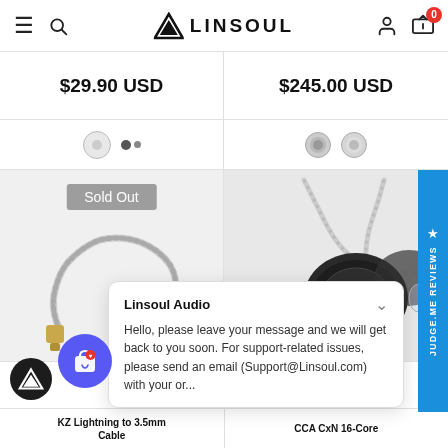LINSOUL — Navigation header with menu, search, logo, user and cart icons
$29.90 USD
$245.00 USD
[Figure (photo): Silver cable with Lightning connector — shown as product image with Sold Out badge]
[Figure (photo): CCA in-ear monitor (IEM) with braided silver cable, close-up product photo]
Linsoul Audio
Hello, please leave your message and we will get back to you soon. For support-related issues, please send an email (Support@Linsoul.com) with your or...
KZ Lightning to 3.5mm Cable
CCA CxN 16-Core